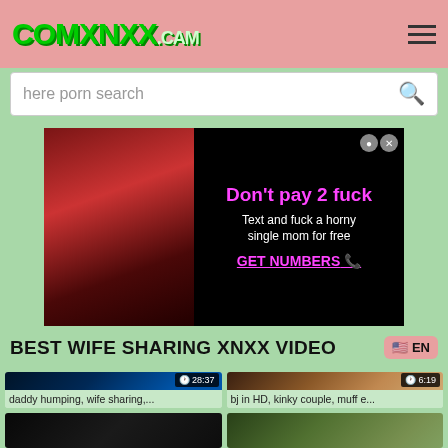COMXNXX.CAM
here porn search
[Figure (screenshot): Advertisement banner: woman with red hair on left side, text on black background: Don't pay 2 fuck, Text and fuck a horny single mom for free, GET NUMBERS]
BEST WIFE SHARING XNXX VIDEO
[Figure (screenshot): Video thumbnail: dark blue tinted scene, duration badge showing clock icon and 28:37]
daddy humping, wife sharing,...
[Figure (screenshot): Video thumbnail: people on couch scene, duration badge showing clock icon and 6:19]
bj in HD, kinky couple, muff e...
[Figure (screenshot): Video thumbnail: dark car scene, partially visible]
[Figure (screenshot): Video thumbnail: outdoor scene, partially visible]